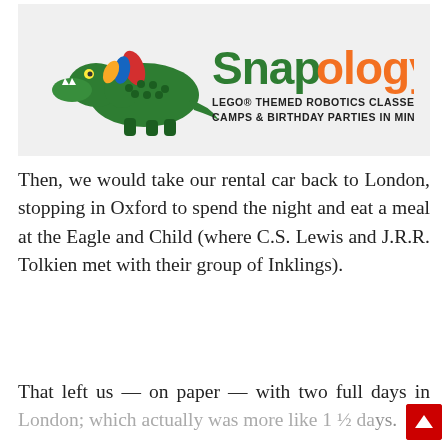[Figure (logo): Snapology logo with green dinosaur/crocodile made of LEGO bricks. Text reads 'Snapology' in green and orange, with tagline 'LEGO® THEMED ROBOTICS CLASSES, CAMPS & BIRTHDAY PARTIES IN MINNEAPOLIS' in black.]
Then, we would take our rental car back to London, stopping in Oxford to spend the night and eat a meal at the Eagle and Child (where C.S. Lewis and J.R.R. Tolkien met with their group of Inklings).
That left us — on paper — with two full days in London; which actually was more like 1 ½ days.